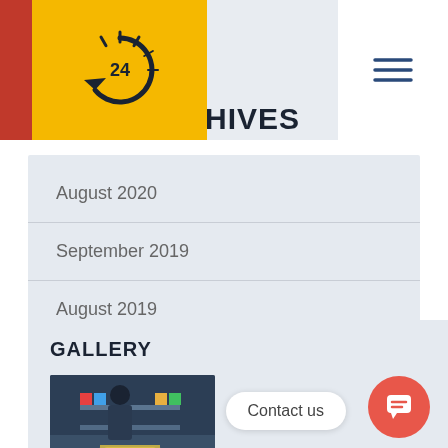[Figure (logo): 24-hour circular arrow logo on yellow background with red left strip]
HIVES
August 2020
September 2019
August 2019
GALLERY
[Figure (photo): Person with shopping cart in supermarket aisle]
Contact us